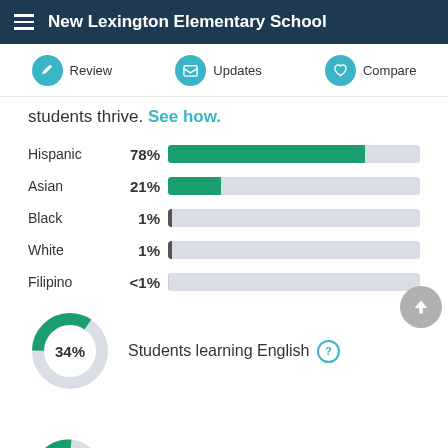New Lexington Elementary School
students thrive. See how.
[Figure (bar-chart): Student demographics by ethnicity]
[Figure (donut-chart): Students learning English]
Students learning English ?
[Figure (donut-chart): Partially visible donut chart at bottom of page]